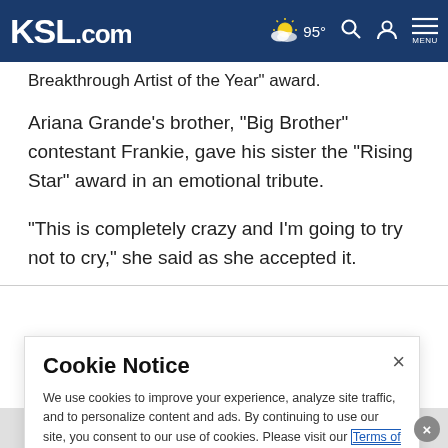KSL.com | 95° | Menu
Breakthrough Artist of the Year" award.
Ariana Grande's brother, "Big Brother" contestant Frankie, gave his sister the "Rising Star" award in an emotional tribute.
"This is completely crazy and I'm going to try not to cry," she said as she accepted it.
Cookie Notice
We use cookies to improve your experience, analyze site traffic, and to personalize content and ads. By continuing to use our site, you consent to our use of cookies. Please visit our Terms of Use and  Privacy Policy for more information.